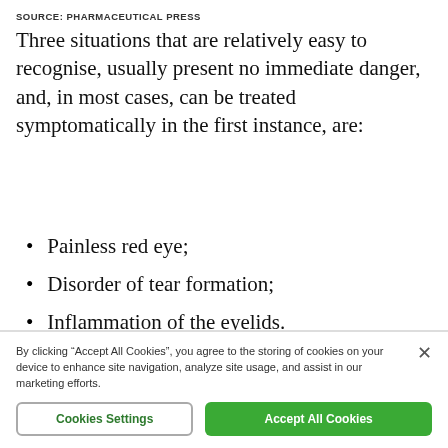SOURCE: PHARMACEUTICAL PRESS
Three situations that are relatively easy to recognise, usually present no immediate danger, and, in most cases, can be treated symptomatically in the first instance, are:
Painless red eye;
Disorder of tear formation;
Inflammation of the eyelids.
By clicking “Accept All Cookies”, you agree to the storing of cookies on your device to enhance site navigation, analyze site usage, and assist in our marketing efforts.